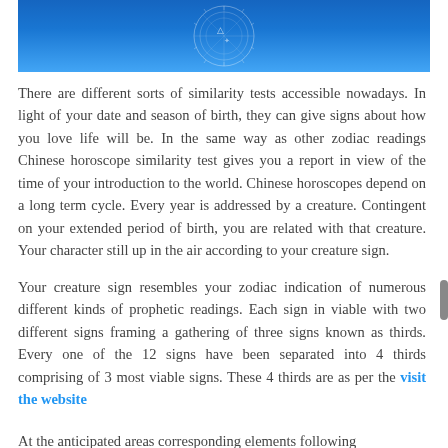[Figure (photo): Blue circular zodiac/astrology chart image cropped at top]
There are different sorts of similarity tests accessible nowadays. In light of your date and season of birth, they can give signs about how you love life will be. In the same way as other zodiac readings Chinese horoscope similarity test gives you a report in view of the time of your introduction to the world. Chinese horoscopes depend on a long term cycle. Every year is addressed by a creature. Contingent on your extended period of birth, you are related with that creature. Your character still up in the air according to your creature sign.
Your creature sign resembles your zodiac indication of numerous different kinds of prophetic readings. Each sign in viable with two different signs framing a gathering of three signs known as thirds. Every one of the 12 signs have been separated into 4 thirds comprising of 3 most viable signs. These 4 thirds are as per the visit the website
At the anticipated areas corresponding elements following